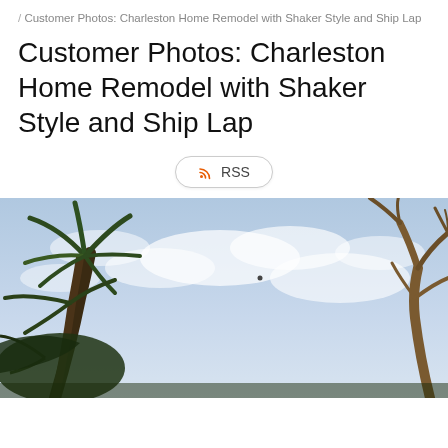/ Customer Photos: Charleston Home Remodel with Shaker Style and Ship Lap
Customer Photos: Charleston Home Remodel with Shaker Style and Ship Lap
RSS
[Figure (photo): Outdoor photo looking upward at palm trees and bare winter trees against a blue cloudy sky, taken in Charleston]